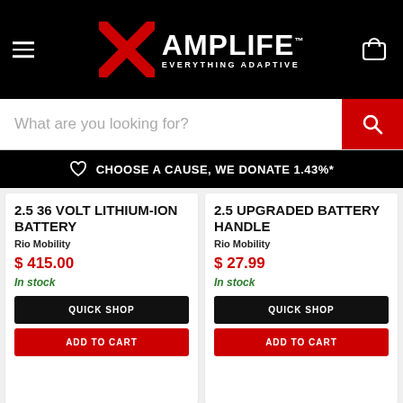AMPLIFE — EVERYTHING ADAPTIVE
What are you looking for?
CHOOSE A CAUSE, WE DONATE 1.43%*
2.5 36 VOLT LITHIUM-ION BATTERY
Rio Mobility
$ 415.00
In stock
QUICK SHOP
ADD TO CART
2.5 UPGRADED BATTERY HANDLE
Rio Mobility
$ 27.99
In stock
QUICK SHOP
ADD TO CART